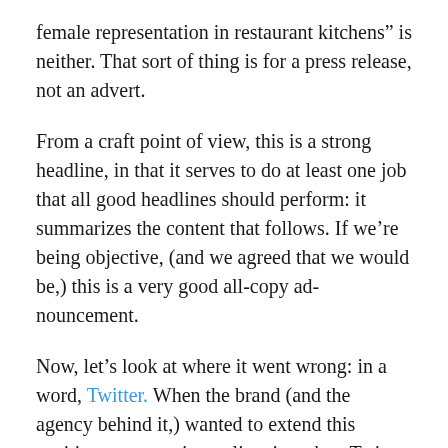female representation in restaurant kitchens” is neither. That sort of thing is for a press release, not an advert.
From a craft point of view, this is a strong headline, in that it serves to do at least one job that all good headlines should perform: it summarizes the content that follows. If we’re being objective, (and we agreed that we would be,) this is a very good all-copy ad-nouncement.
Now, let’s look at where it went wrong: in a word, Twitter. When the brand (and the agency behind it,) wanted to extend this exciting conversation online, it took to Twitter and Burger King’s 1.9 million followers with the initial tweet. Which, sadly, was just the headline. It then tweeted a summary of the content that follows in the ad. [Important note: the tweets were initially “debated” on @BurgerKingUK.] While Burger King did clarify the headline